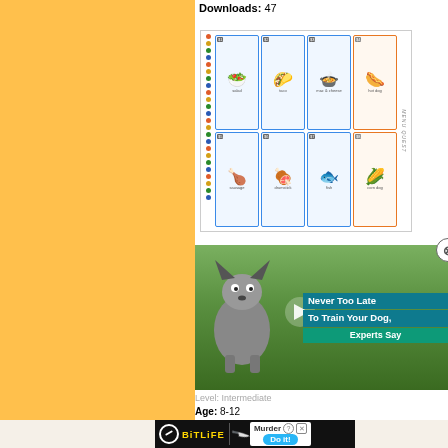Downloads: 47
[Figure (illustration): Food flashcard worksheet showing 8 food items in a 4x2 grid: salad, taco, mac and cheese, hot dog (top row); hot dog/sausage, chicken leg/drumstick, fish, corn dog (bottom row). Decorative dot border on left. Vertical sidebar text reads 'MENU QUEST' or similar.]
[Figure (screenshot): Video ad overlay showing a dog sitting on grass looking up. Play button in center. Text overlay reads 'Never Too Late To Train Your Dog, Experts Say' on teal/blue background. Close (X) button in circle top right.]
Level: Intermediate
Age: 8-12
Downloads: 41
[Figure (screenshot): BitLife advertisement banner at bottom. Black background with BitLife logo (white circle, yellow text). Knife graphic. White box with 'Murder' text. Blue rounded 'Do it!' button. Question mark and X close icons.]